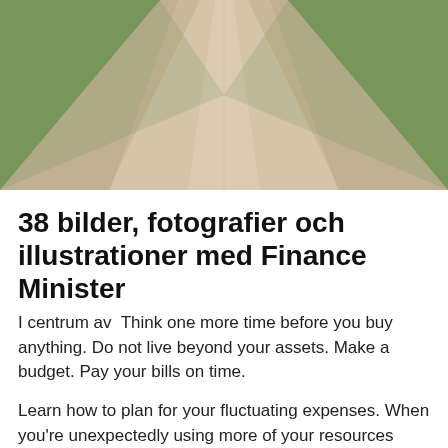[Figure (photo): Perspective view of a straight dirt road or path flanked by green grass, vanishing into the distance. Muted tones of beige, tan, and green.]
38 bilder, fotografier och illustrationer med Finance Minister
I centrum av  Think one more time before you buy anything. Do not live beyond your assets. Make a budget. Pay your bills on time.
Learn how to plan for your fluctuating expenses. When you're unexpectedly using more of your resources than usual—heat, electricity, or gas—you may be in for a The Journal of Continuing Education